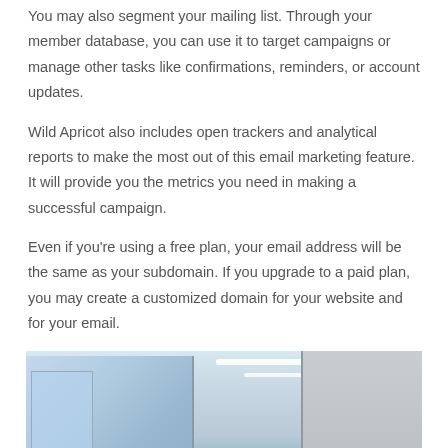You may also segment your mailing list. Through your member database, you can use it to target campaigns or manage other tasks like confirmations, reminders, or account updates.
Wild Apricot also includes open trackers and analytical reports to make the most out of this email marketing feature. It will provide you the metrics you need in making a successful campaign.
Even if you're using a free plan, your email address will be the same as your subdomain. If you upgrade to a paid plan, you may create a customized domain for your website and for your email.
[Figure (photo): A meeting room or conference space with large floor-to-ceiling windows on the left, a modern ceiling with recessed lighting, and a group of diverse people seated around a table, appearing to be in a meeting or training session.]